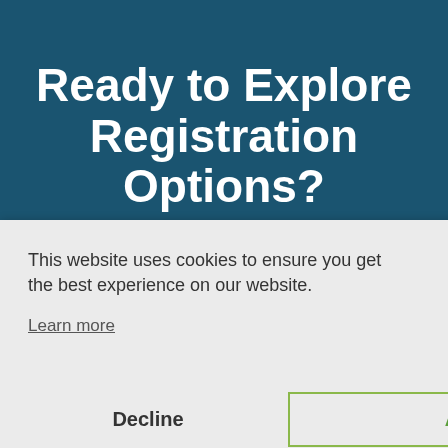Ready to Explore Registration Options?
ning
×
This website uses cookies to ensure you get the best experience on our website.
Learn more
Decline
Accept